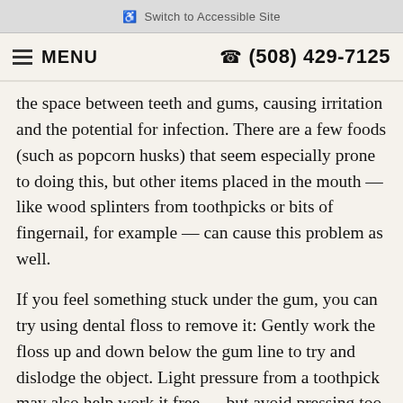♿ Switch to Accessible Site
≡ MENU   ☎ (508) 429-7125
the space between teeth and gums, causing irritation and the potential for infection. There are a few foods (such as popcorn husks) that seem especially prone to doing this, but other items placed in the mouth — like wood splinters from toothpicks or bits of fingernail, for example — can cause this problem as well.
If you feel something stuck under the gum, you can try using dental floss to remove it: Gently work the floss up and down below the gum line to try and dislodge the object. Light pressure from a toothpick may also help work it free — but avoid pressing too hard or pushing the object in deeper. If that doesn't work, see a dentist as soon as possible. Special tools may be needed to find and remove the object, and you may be given medication to prevent infection.